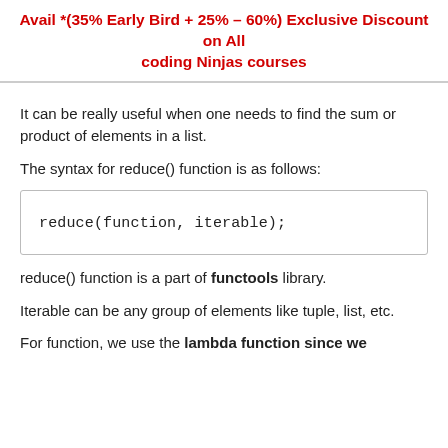Avail *(35% Early Bird + 25% = 60%) Exclusive Discount on All coding Ninjas courses
It can be really useful when one needs to find the sum or product of elements in a list.
The syntax for reduce() function is as follows:
reduce() function is a part of functools library.
Iterable can be any group of elements like tuple, list, etc.
For function, we use the lambda function since we